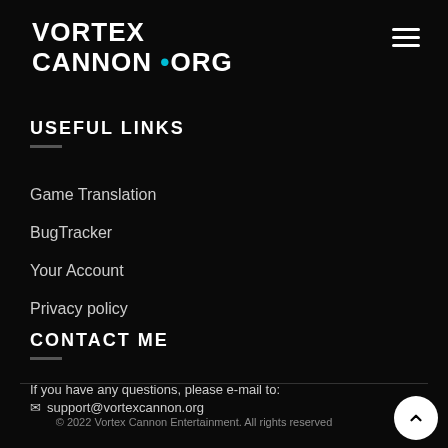VORTEX CANNON .ORG
USEFUL LINKS
Game Translation
BugTracker
Your Account
Privacy policy
CONTACT ME
If you have any questions, please e-mail to:
✉ support@vortexcannon.org
© 2022 Vortex Cannon Entertainment. All rights reserved